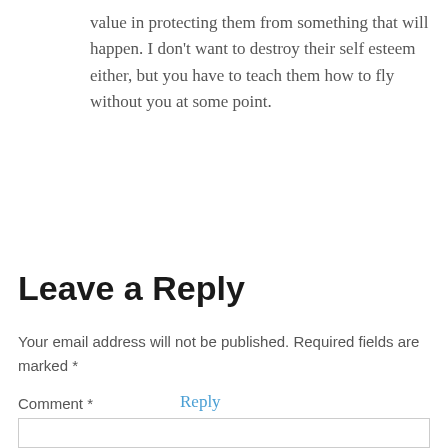value in protecting them from something that will happen. I don't want to destroy their self esteem either, but you have to teach them how to fly without you at some point.
Reply
Leave a Reply
Your email address will not be published. Required fields are marked *
Comment *